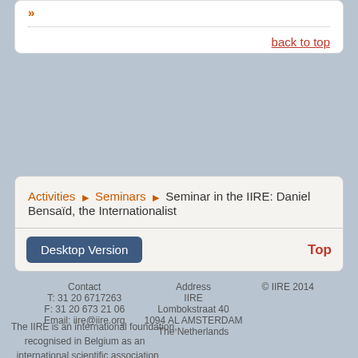»
back to top
Activities ▶ Seminars ▶ Seminar in the IIRE: Daniel Bensaïd, the Internationalist
Desktop Version
Top
Contact   T: 31 20 6717263   F: 31 20 673 21 06   Email: iire@iire.org   Address   IIRE   Lombokstraat 40   1094 AL AMSTERDAM   The Netherlands   © IIRE 2014
The IIRE is an international foundation, recognised in Belgium as an international scientific association by Royal decree of 11th June 1981.